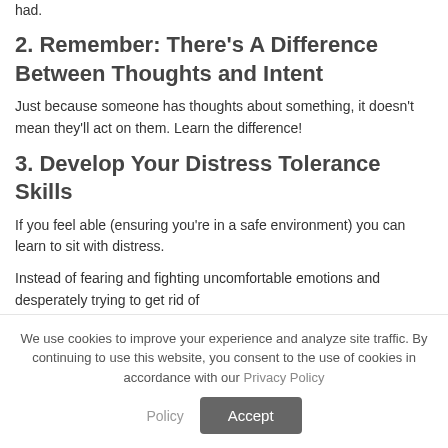had.
2. Remember: There's A Difference Between Thoughts and Intent
Just because someone has thoughts about something, it doesn't mean they'll act on them. Learn the difference!
3. Develop Your Distress Tolerance Skills
If you feel able (ensuring you're in a safe environment) you can learn to sit with distress.
Instead of fearing and fighting uncomfortable emotions and desperately trying to get rid of
We use cookies to improve your experience and analyze site traffic. By continuing to use this website, you consent to the use of cookies in accordance with our Privacy Policy
Accept